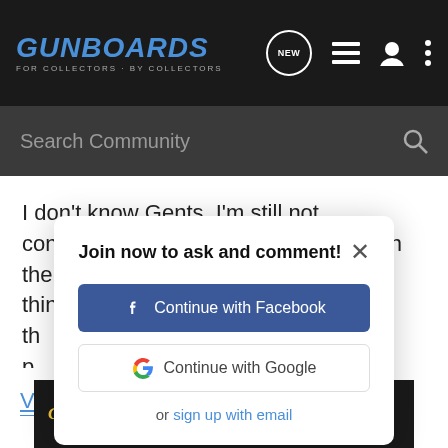GUNBOARDS - FOR COLLECTORS · BY COLLECTORS
Search Community
I don't know Gents. I'm still not convinced. Unfortunately, the devil is in the details and from what I see, I don't think it's en...
Join now to ask and comment!
Continue with Facebook
Continue with Google
or sign up with email
[Figure (screenshot): Cabela's 'HIGHEST-RATED GEAR' advertisement banner with star rating 4.2 and gear image]
V